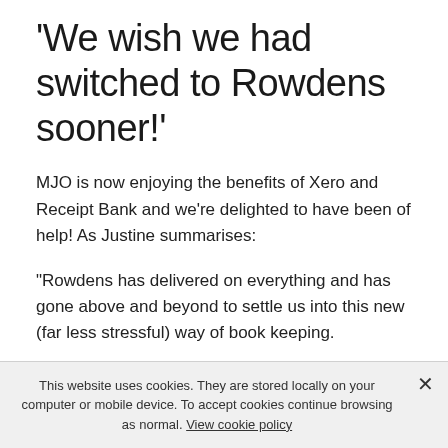'We wish we had switched to Rowdens sooner!'
MJO is now enjoying the benefits of Xero and Receipt Bank and we're delighted to have been of help! As Justine summarises:
"Rowdens has delivered on everything and has gone above and beyond to settle us into this new (far less stressful) way of book keeping.
"We are now recommending Xero, Receipt Bank and of course Rowdens to contractors that work with us. The stress of the past are consigned to history. We continue with Rowdens to ensure our accounts are up to date and
This website uses cookies. They are stored locally on your computer or mobile device. To accept cookies continue browsing as normal. View cookie policy